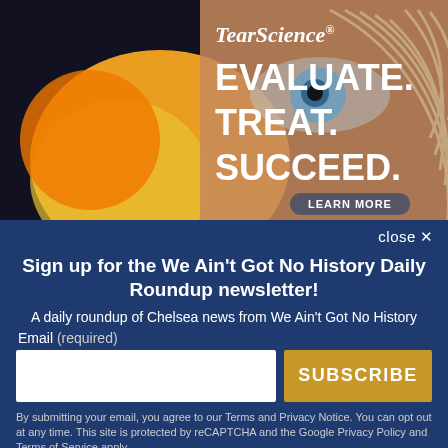[Figure (advertisement): TearScience advertisement with close-up of a human eye and text: EVALUATE. TREAT. SUCCEED. with a LEARN MORE button and orange/yellow abstract shapes on dark background]
close ✕
Sign up for the We Ain't Got No History Daily Roundup newsletter!
A daily roundup of Chelsea news from We Ain't Got No History
Email (required)
SUBSCRIBE
By submitting your email, you agree to our Terms and Privacy Notice. You can opt out at any time. This site is protected by reCAPTCHA and the Google Privacy Policy and Terms of Service apply.